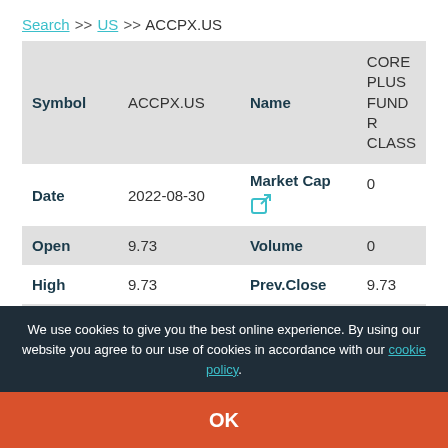Search >> US >> ACCPX.US
| Symbol | ACCPX.US | Name | CORE PLUS FUND R CLASS |
| --- | --- | --- | --- |
| Date | 2022-08-30 | Market Cap | 0 |
| Open | 9.73 | Volume | 0 |
| High | 9.73 | Prev.Close | 9.73 |
| Low | 9.73 | Change | 0 |
We use cookies to give you the best online experience. By using our website you agree to our use of cookies in accordance with our cookie policy.
OK